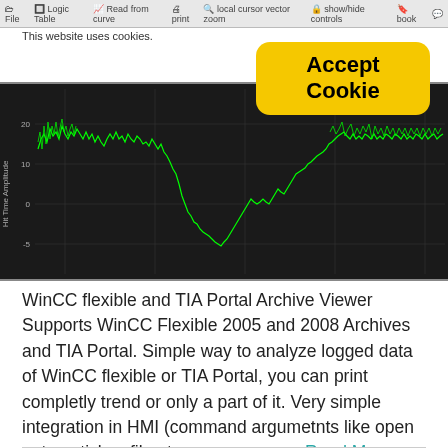toolbar / navigation bar (screenshot)
This website uses cookies.
[Figure (screenshot): Accept Cookie button - yellow rounded rectangle with bold text 'Accept Cookie']
[Figure (continuous-plot): Time-series line chart with bright green waveform on dark background showing amplitude over time. Y-axis labeled 'Hit Time Amplitude', values range approximately -5 to 20. Chart shows fluctuating signal that dips to a minimum around the center-right then recovers.]
WinCC flexible and TIA Portal Archive Viewer Supports WinCC Flexible 2005 and 2008 Archives and TIA Portal. Simple way to analyze logged data of WinCC flexible or TIA Portal, you can print completly trend or only a part of it. Very simple integration in HMI (command argumetnts like open automaticly a file ot open program... Read More